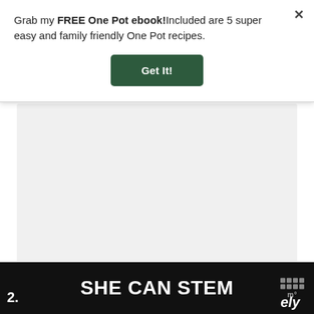Grab my FREE One Pot ebook!Included are 5 super easy and family friendly One Pot recipes.
Get It!
[Figure (other): Gray rectangular placeholder content area]
2.
SHE CAN STEM
ely